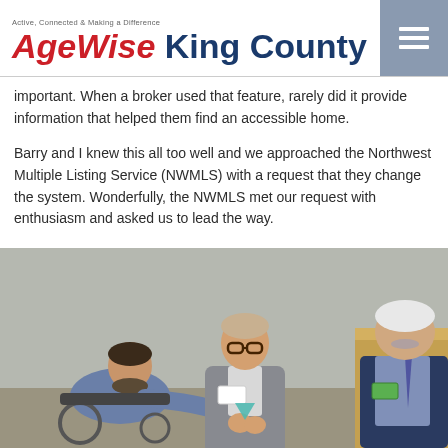AgeWise King County — Active, Connected & Making a Difference
important. When a broker used that feature, rarely did it provide information that helped them find an accessible home.
Barry and I knew this all too well and we approached the Northwest Multiple Listing Service (NWMLS) with a request that they change the system. Wonderfully, the NWMLS met our request with enthusiasm and asked us to lead the way.
[Figure (photo): Three men at an award ceremony. A man in a wheelchair receives a glass award from a man in a gray suit with a name badge, while a third man with white hair stands at a podium on the right.]